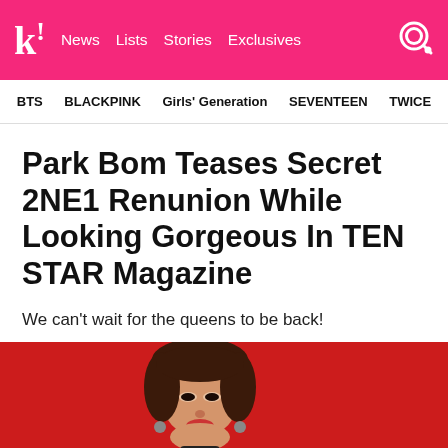k! News Lists Stories Exclusives
BTS BLACKPINK Girls' Generation SEVENTEEN TWICE
Park Bom Teases Secret 2NE1 Renunion While Looking Gorgeous In TEN STAR Magazine
We can't wait for the queens to be back!
[Figure (photo): Photo of Park Bom on a red background with the partial quote text '...it's still']